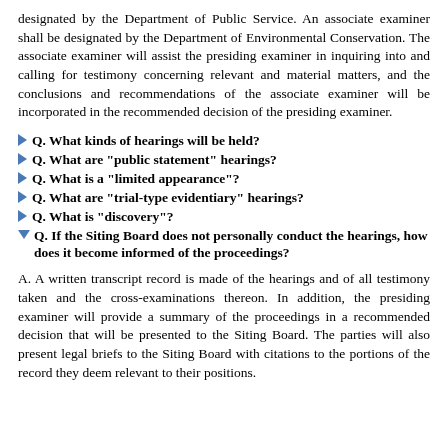designated by the Department of Public Service. An associate examiner shall be designated by the Department of Environmental Conservation. The associate examiner will assist the presiding examiner in inquiring into and calling for testimony concerning relevant and material matters, and the conclusions and recommendations of the associate examiner will be incorporated in the recommended decision of the presiding examiner.
Q. What kinds of hearings will be held?
Q. What are "public statement" hearings?
Q. What is a "limited appearance"?
Q. What are "trial-type evidentiary" hearings?
Q. What is "discovery"?
Q. If the Siting Board does not personally conduct the hearings, how does it become informed of the proceedings?
A. A written transcript record is made of the hearings and of all testimony taken and the cross-examinations thereon. In addition, the presiding examiner will provide a summary of the proceedings in a recommended decision that will be presented to the Siting Board. The parties will also present legal briefs to the Siting Board with citations to the portions of the record they deem relevant to their positions.